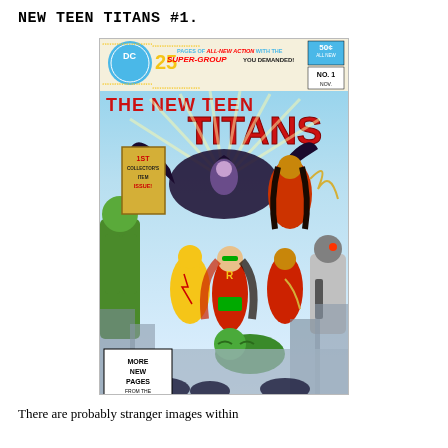NEW TEEN TITANS #1.
[Figure (illustration): Comic book cover of New Teen Titans #1. Shows the DC Comics logo, '25 pages of all-new action with the super-group you demanded!', price 50¢, No. 1, Nov. Title reads 'The New Teen Titans'. Features '1st Collector's Item Issue!' badge on left. Cover art shows superhero team including Robin, Kid Flash, Starfire, Cyborg, Raven, Beast Boy (as a green tiger), and Wonder Girl fighting villains in a city setting. Bottom left box reads 'More New Pages from the New DC'.]
There are probably stranger images within